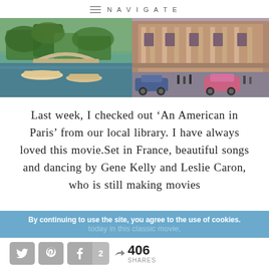NAVIGATE
[Figure (photo): Two side-by-side vintage photographs of Paris: left shows a river scene with boats and a bridge with trees; right shows a grand classical building facade with vintage cars in the foreground.]
Last week, I checked out 'An American in Paris' from our local library. I have always loved this movie.Set in France, beautiful songs and dancing by Gene Kelly and Leslie Caron, who is still making movies today in this classic movie,
By continuing to use the site, you agree to the use of cookies.